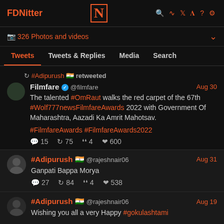FDNitter — N — search rss twitter link help settings
326 Photos and videos
Tweets | Tweets & Replies | Media | Search
#Adipurush retweeted
Filmfare @filmfare Aug 30
The talented #OmRaut walks the red carpet of the 67th #Wolf777newsFilmfareAwards 2022 with Government Of Maharashtra, Aazadi Ka Amrit Mahotsav.
#FilmfareAwards #FilmfareAwards2022
15  75  4  600
#Adipurush @rajeshnair06 Aug 31
Ganpati Bappa Morya
27  84  4  538
#Adipurush @rajeshnair06 Aug 19
Wishing you all a very Happy #gokulashtami